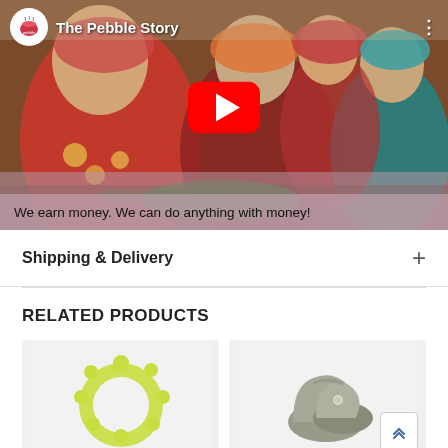[Figure (screenshot): YouTube video thumbnail titled 'The Pebble Story' showing women in colorful clothing knitting, with a YouTube play button overlay and subtitle text 'We earn money. We can do anything with money!']
Shipping & Delivery
RELATED PRODUCTS
[Figure (photo): Product photo of a yellow/lime green teething ring or circular baby toy on white background]
[Figure (photo): Product photo of grey fabric baby booties/shoes on white background]